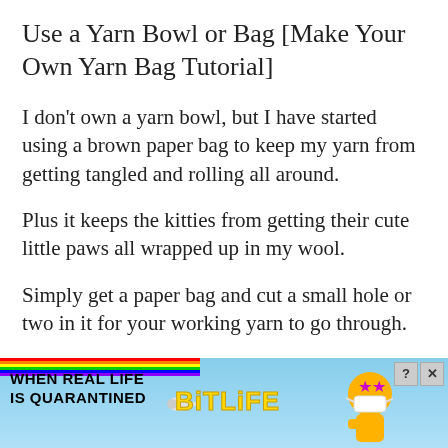Use a Yarn Bowl or Bag [Make Your Own Yarn Bag Tutorial]
I don't own a yarn bowl, but I have started using a brown paper bag to keep my yarn from getting tangled and rolling all around.
Plus it keeps the kitties from getting their cute little paws all wrapped up in my wool.
Simply get a paper bag and cut a small hole or two in it for your working yarn to go through. You can even put multiple skeins in it with
[Figure (screenshot): BitLife advertisement banner with rainbow stripe, sperm icon, BitLife yellow logo text, star-eyed emoji character, and close/question buttons. Text reads 'WHEN REAL LIFE IS QUARANTINED'.]